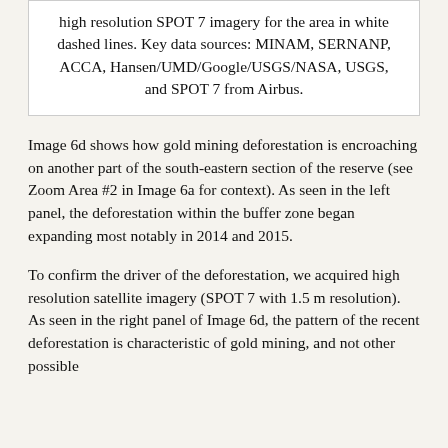high resolution SPOT 7 imagery for the area in white dashed lines. Key data sources: MINAM, SERNANP, ACCA, Hansen/UMD/Google/USGS/NASA, USGS, and SPOT 7 from Airbus.
Image 6d shows how gold mining deforestation is encroaching on another part of the south-eastern section of the reserve (see Zoom Area #2 in Image 6a for context). As seen in the left panel, the deforestation within the buffer zone began expanding most notably in 2014 and 2015.
To confirm the driver of the deforestation, we acquired high resolution satellite imagery (SPOT 7 with 1.5 m resolution). As seen in the right panel of Image 6d, the pattern of the recent deforestation is characteristic of gold mining, and not other possible